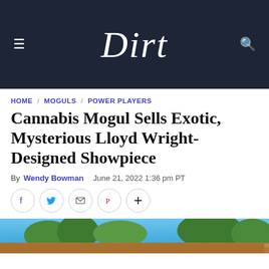Dirt
HOME / MOGULS / POWER PLAYERS
Cannabis Mogul Sells Exotic, Mysterious Lloyd Wright-Designed Showpiece
By Wendy Bowman   June 21, 2022 1:36 pm PT
[Figure (photo): Partial view of a Lloyd Wright-designed home exterior with brown roof tiles, trees, and blue sky in the background]